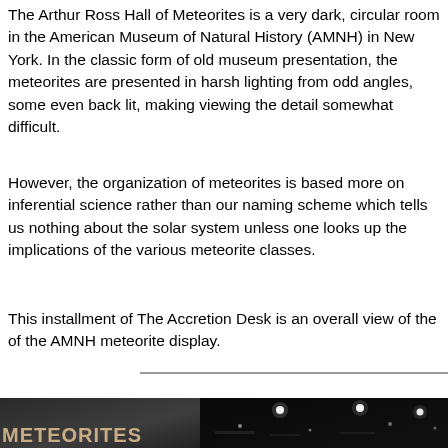The Arthur Ross Hall of Meteorites is a very dark, circular room in the American Museum of Natural History (AMNH) in New York. In the classic form of old museum presentation, the meteorites are presented in harsh lighting from odd angles, some even back lit, making viewing the detail somewhat difficult.
However, the organization of meteorites is based more on inferential science rather than our naming scheme which tells us nothing about the solar system unless one looks up the implications of the various meteorite classes.
This installment of The Accretion Desk is an overall view of the of the AMNH meteorite display.
[Figure (photo): Photo of the Arthur Ross Hall of Meteorites at AMNH. Left half shows a dark display sign reading 'METEORITES' in gold/tan letters on a dark background. Right half shows a very dark circular room with small bright overhead lights visible against the black ceiling/walls.]